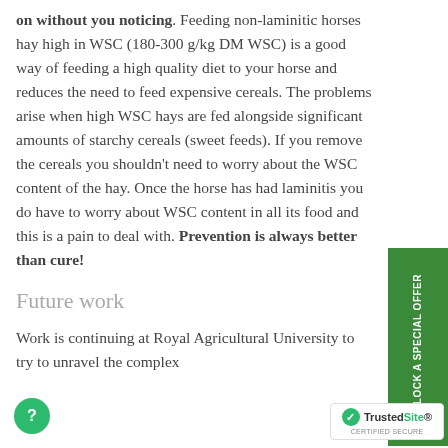on without you noticing. Feeding non-laminitic horses hay high in WSC (180-300 g/kg DM WSC) is a good way of feeding a high quality diet to your horse and reduces the need to feed expensive cereals. The problems arise when high WSC hays are fed alongside significant amounts of starchy cereals (sweet feeds). If you remove the cereals you shouldn't need to worry about the WSC content of the hay. Once the horse has had laminitis you do have to worry about WSC content in all its food and this is a pain to deal with. Prevention is always better than cure!
Future work
Work is continuing at Royal Agricultural University to try to unravel the complex